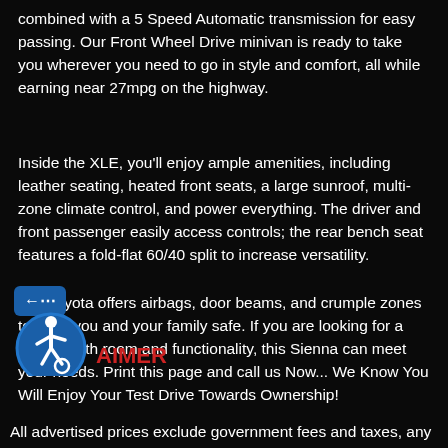combined with a 5 Speed Automatic transmission for easy passing. Our Front Wheel Drive minivan is ready to take you wherever you need to go in style and comfort, all while earning near 27mpg on the highway.
Inside the XLE, you'll enjoy ample amenities, including leather seating, heated front seats, a large sunroof, multi-zone climate control, and power everything. The driver and front passenger easily access controls; the rear bench seat features a fold-flat 60/40 split to increase versatility.
Our Toyota offers airbags, door beams, and crumple zones to keep you and your family safe. If you are looking for a vehicle with room and functionality, this Sienna can meet your needs. Print this page and call us Now... We Know You Will Enjoy Your Test Drive Towards Ownership!
[Figure (other): Accessibility widget button with back arrow icon in blue rounded square, and blue circle with wheelchair accessible person icon]
AIMER
All advertised prices exclude government fees and taxes, any